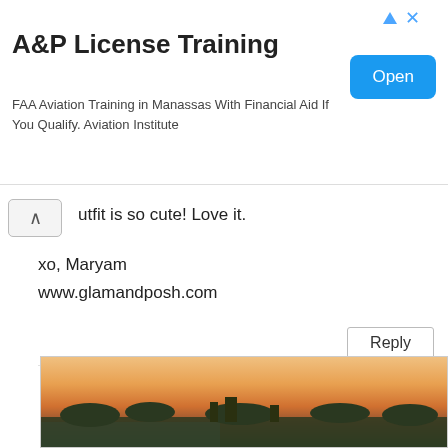[Figure (screenshot): Advertisement banner for A&P License Training with blue Open button]
A&P License Training
FAA Aviation Training in Manassas With Financial Aid If You Qualify. Aviation Institute
...outfit is so cute! Love it.
xo, Maryam
www.glamandposh.com
Reply
FASHIONRADI
APRIL 29, 2018 AT 12:17 AM
Thanks a lot! I must admit, I love wearing it!!!
Reply
[Figure (photo): Sunset landscape photo with city/town skyline and river]